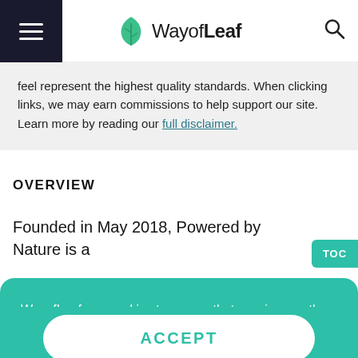WayofLeaf
feel represent the highest quality standards. When clicking links, we may earn commissions to help support our site. Learn more by reading our full disclaimer.
OVERVIEW
Founded in May 2018, Powered by Nature is a
WayofLeaf use cookies to ensure that we give you the best experience on our website. If you continue to use this site we will assume that you are happy with it. More Information
ACCEPT